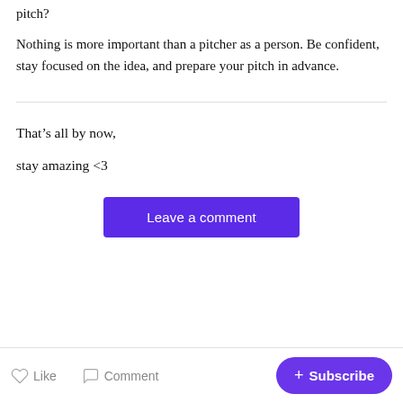pitch?
Nothing is more important than a pitcher as a person. Be confident, stay focused on the idea, and prepare your pitch in advance.
That’s all by now,
stay amazing <3
[Figure (other): Purple 'Leave a comment' button]
Like  Comment  + Subscribe